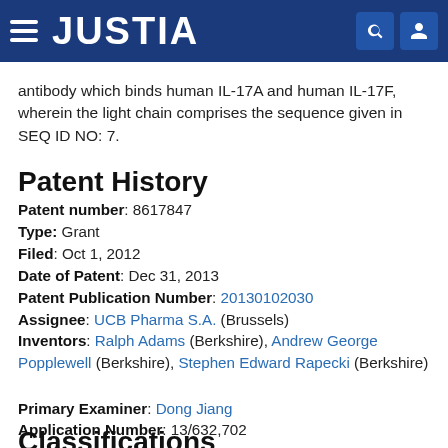[Figure (logo): Justia website header with hamburger menu, JUSTIA logo in white on dark blue background, search and user icons]
antibody which binds human IL-17A and human IL-17F, wherein the light chain comprises the sequence given in SEQ ID NO: 7.
Patent History
Patent number: 8617847
Type: Grant
Filed: Oct 1, 2012
Date of Patent: Dec 31, 2013
Patent Publication Number: 20130102030
Assignee: UCB Pharma S.A. (Brussels)
Inventors: Ralph Adams (Berkshire), Andrew George Popplewell (Berkshire), Stephen Edward Rapecki (Berkshire)
Primary Examiner: Dong Jiang
Application Number: 13/632,702
Classifications